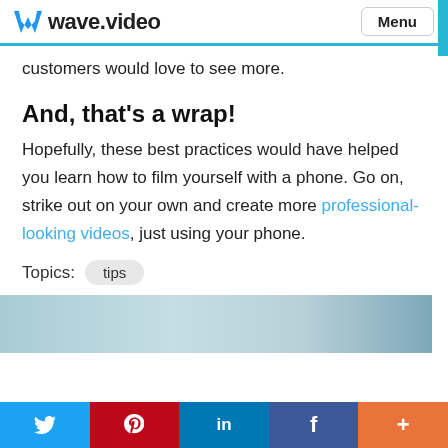wave.video  Menu
customers would love to see more.
And, that's a wrap!
Hopefully, these best practices would have helped you learn how to film yourself with a phone. Go on, strike out on your own and create more professional-looking videos, just using your phone.
Topics: tips